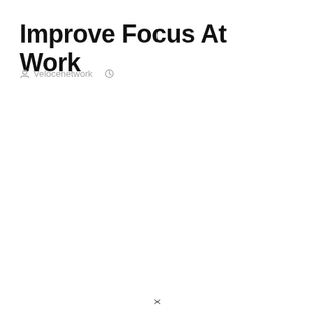Improve Focus At Work
Velocenetwork  (clock icon)